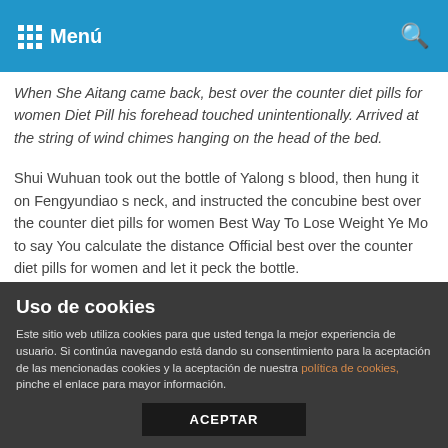Menú
When She Aitang came back, best over the counter diet pills for women Diet Pill his forehead touched unintentionally. Arrived at the string of wind chimes hanging on the head of the bed.
Shui Wuhuan took out the bottle of Yalong s blood, then hung it on Fengyundiao s neck, and instructed the concubine best over the counter diet pills for women Best Way To Lose Weight Ye Mo to say You calculate the distance Official best over the counter diet pills for women and let it peck the bottle.
She held up the tea cup with confidence, and just took a sip, she found that something was not right, and quickly glanced around.
After watching them disappear, someone couldn t help but ask Should we really stay here and wait Wait, there is a way to survive, not to wait, a dead end.
Uso de cookies
Este sitio web utiliza cookies para que usted tenga la mejor experiencia de usuario. Si continúa navegando está dando su consentimiento para la aceptación de las mencionadas cookies y la aceptación de nuestra política de cookies, pinche el enlace para mayor información.
ACEPTAR